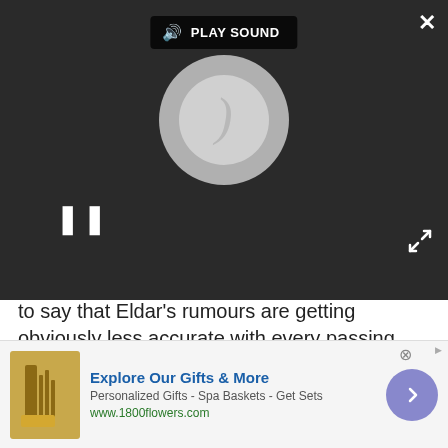[Figure (screenshot): Video player overlay with dark background, PLAY SOUND button, spinning loading circle, pause button and expand icon]
to say that Eldar's rumours are getting obviously less accurate with every passing moment."
So, denial from Nokia but this hasn't stopped the rumour mill going into overtime.
Via Unwired View
[Figure (photo): Author avatar circular photo of Marc Checksfield]
Marc Checksfield
[Figure (infographic): Advertisement banner: Explore Our Gifts & More — Personalized Gifts - Spa Baskets - Get Sets — www.1800flowers.com]